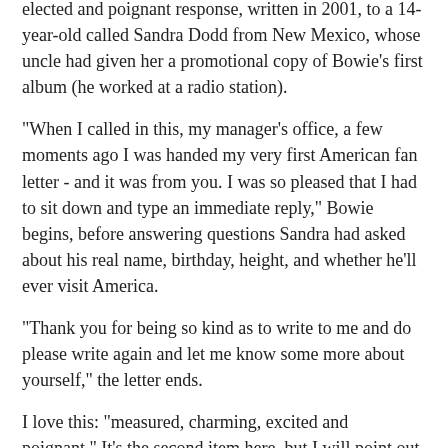elected and poignant response, written in 2001, to a 14-year-old called Sandra Dodd from New Mexico, whose uncle had given her a promotional copy of Bowie's first album (he worked at a radio station).
"When I called in this, my manager's office, a few moments ago I was handed my very first American fan letter - and it was from you. I was so pleased that I had to sit down and type an immediate reply," Bowie begins, before answering questions Sandra had asked about his real name, birthday, height, and whether he'll ever visit America.
"Thank you for being so kind as to write to me and do please write again and let me know some more about yourself," the letter ends.
I love this: "measured, charming, excited and poignant." It's the second item here, but I will point out again that he was not yet a famous musician when the letter was written.